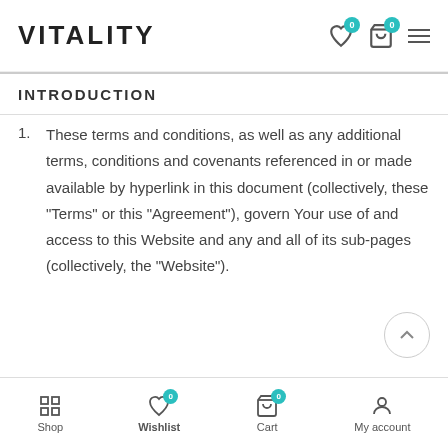VITALITY
INTRODUCTION
These terms and conditions, as well as any additional terms, conditions and covenants referenced in or made available by hyperlink in this document (collectively, these “Terms” or this “Agreement”), govern Your use of and access to this Website and any and all of its sub-pages (collectively, the “Website”).
Shop | Wishlist | Cart | My account